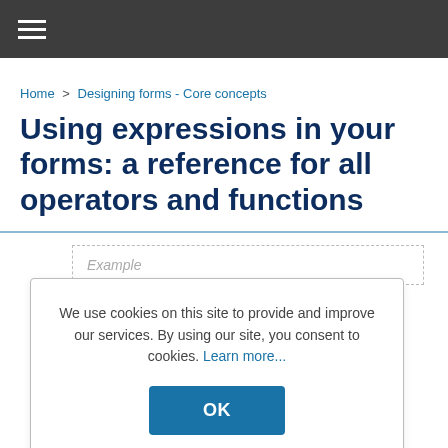≡
Home > Designing forms - Core concepts
Using expressions in your forms: a reference for all operators and functions
Example
We use cookies on this site to provide and improve our services. By using our site, you consent to cookies. Learn more...